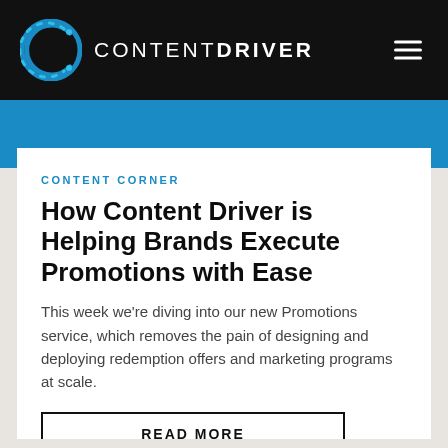CONTENTDRIVER
CONTENT CORNER
How Content Driver is Helping Brands Execute Promotions with Ease
This week we’re diving into our new Promotions service, which removes the pain of designing and deploying redemption offers and marketing programs at scale.
READ MORE